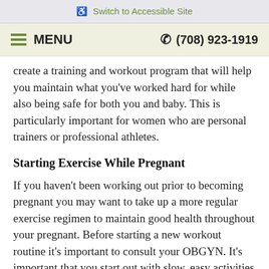☎ Switch to Accessible Site
≡ MENU   ☎ (708) 923-1919
create a training and workout program that will help you maintain what you've worked hard for while also being safe for both you and baby. This is particularly important for women who are personal trainers or professional athletes.
Starting Exercise While Pregnant
If you haven't been working out prior to becoming pregnant you may want to take up a more regular exercise regimen to maintain good health throughout your pregnant. Before starting a new workout routine it's important to consult your OBGYN. It's important that you start out with slow, easy activities like a brisk walk through the neighborhood. You wouldn't go from not being active to suddenly tackling a Warrior Run, so you certainly don't want to do it when you're pregnant,